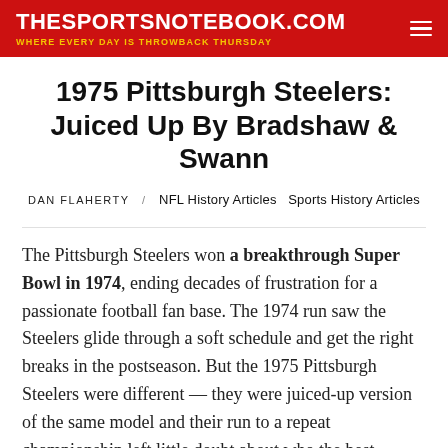THESPORTSNOTEBOOK.COM — WHERE EVERY DAY IS THROWBACK THURSDAY
1975 Pittsburgh Steelers: Juiced Up By Bradshaw & Swann
DAN FLAHERTY / NFL History Articles  Sports History Articles
The Pittsburgh Steelers won a breakthrough Super Bowl in 1974, ending decades of frustration for a passionate football fan base. The 1974 run saw the Steelers glide through a soft schedule and get the right breaks in the postseason. But the 1975 Pittsburgh Steelers were different — they were juiced-up version of the same model and their run to a repeat championship left little doubt about who the best